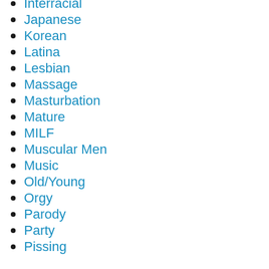Interracial
Japanese
Korean
Latina
Lesbian
Massage
Masturbation
Mature
MILF
Muscular Men
Music
Old/Young
Orgy
Parody
Party
Pissing